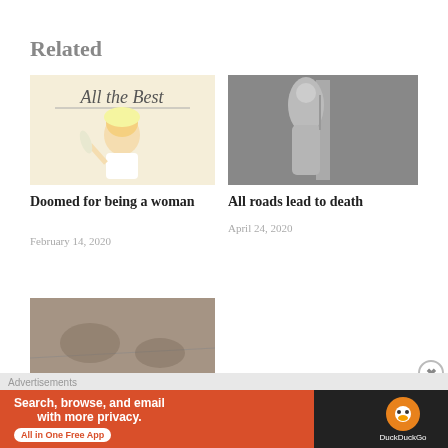Related
[Figure (illustration): Cartoon illustration of a blonde woman with glasses holding a quill, with cursive text 'All the Best' above]
Doomed for being a woman
February 14, 2020
[Figure (photo): Black and white photo of a female statue holding a pole]
All roads lead to death
April 24, 2020
[Figure (photo): Sepia-toned historical image, partially visible at bottom]
Advertisements
[Figure (screenshot): DuckDuckGo advertisement: Search, browse, and email with more privacy. All in One Free App]